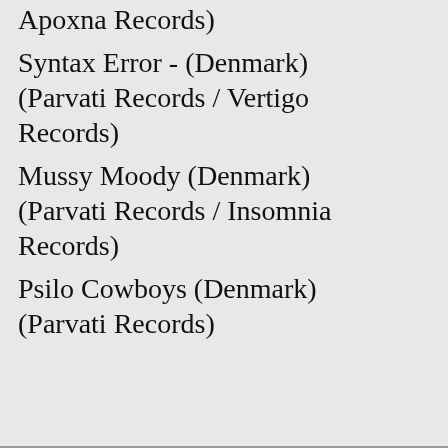Apoxna Records)
Syntax Error - (Denmark) (Parvati Records / Vertigo Records)
Mussy Moody (Denmark) (Parvati Records / Insomnia Records)
Psilo Cowboys (Denmark) (Parvati Records)